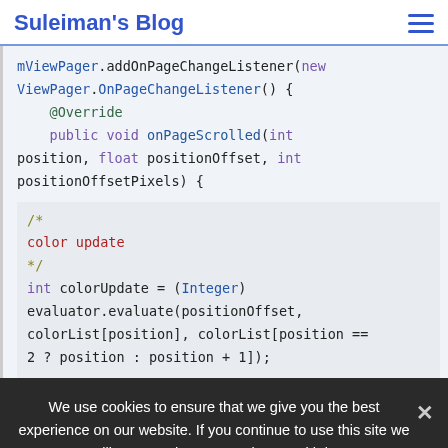Suleiman's Blog
[Figure (screenshot): Java/Android code snippet showing mViewPager.addOnPageChangeListener with ViewPager.OnPageChangeListener implementation including onPageScrolled method and a color update block using evaluator.evaluate]
We use cookies to ensure that we give you the best experience on our website. If you continue to use this site we will assume that you are happy with it.
Ok   Privacy policy